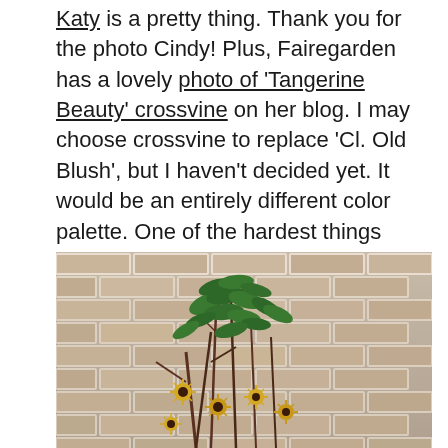Katy is a pretty thing. Thank you for the photo Cindy! Plus, Fairegarden has a lovely photo of 'Tangerine Beauty' crossvine on her blog. I may choose crossvine to replace 'Cl. Old Blush', but I haven't decided yet. It would be an entirely different color palette. One of the hardest things about roses is that many of the heirlooms I grew were pink. Many native plants don't follow that soft color quotient. It will mean changes.
[Figure (photo): Photograph of a climbing plant with yellow and brown daisy-like flowers growing against a pale whitewashed brick wall.]